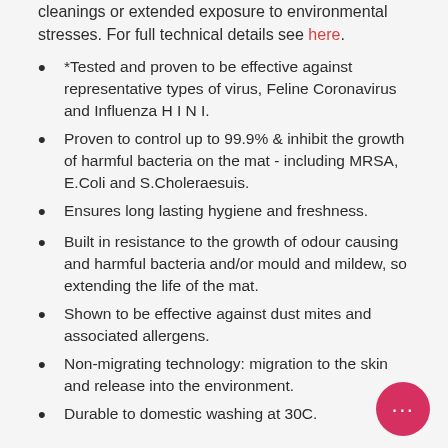cleanings or extended exposure to environmental stresses. For full technical details see here.
*Tested and proven to be effective against representative types of virus, Feline Coronavirus and Influenza H I N I.
Proven to control up to 99.9% & inhibit the growth of harmful bacteria on the mat - including MRSA, E.Coli and S.Choleraesuis.
Ensures long lasting hygiene and freshness.
Built in resistance to the growth of odour causing and harmful bacteria and/or mould and mildew, so extending the life of the mat.
Shown to be effective against dust mites and associated allergens.
Non-migrating technology: migration to the skin and release into the environment.
Durable to domestic washing at 30C.